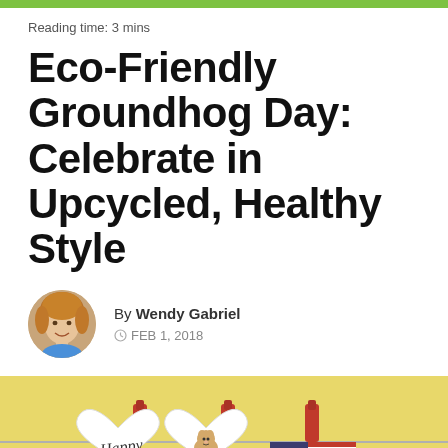Reading time: 3 mins
Eco-Friendly Groundhog Day: Celebrate in Upcycled, Healthy Style
By Wendy Gabriel
FEB 1, 2018
[Figure (photo): Photo of heart-shaped paper cards and an American flag clipped to a clothesline with red clothespins, against a yellow background]